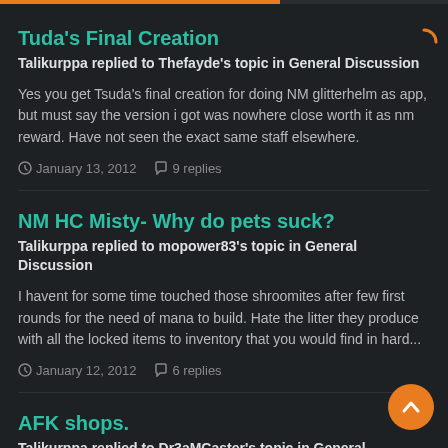Tuda's Final Creation
Talikurppa replied to Thefayde's topic in General Discussion
Yes you get Tsuda's final creation for doing NM glitterhelm as app, but must say the version i got was nowhere close worth it as nm reward. Have not seen the exact same staff elsewhere.
January 13, 2012   9 replies
NM HC Misty- Why do pets suck?
Talikurppa replied to mopower83's topic in General Discussion
I havent for some time touched those shroomites after few first rounds for the need of mana to build. Hate the litter they produce with all the locked items to inventory that you would find in hard...
January 12, 2012   6 replies
AFK shops.
Talikurppa replied to Dr3aMCaster's topic in General